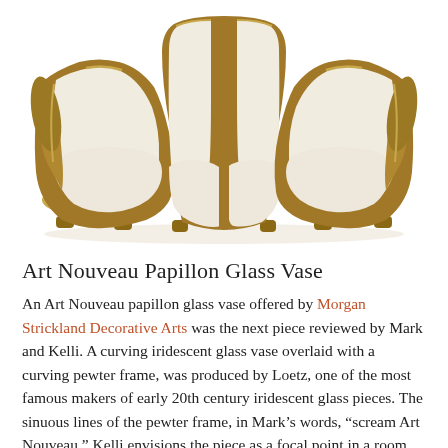[Figure (photo): Art Deco style cream leather and walnut wood sofa set consisting of a two-seat sofa in the center and two matching armchairs arranged in a semi-circular formation, photographed on a white background.]
Art Nouveau Papillon Glass Vase
An Art Nouveau papillon glass vase offered by Morgan Strickland Decorative Arts was the next piece reviewed by Mark and Kelli. A curving iridescent glass vase overlaid with a curving pewter frame, was produced by Loetz, one of the most famous makers of early 20th century iridescent glass pieces. The sinuous lines of the pewter frame, in Mark’s words, “scream Art Nouveau.” Kelli envisions the piece as a focal point in a room, as the piece